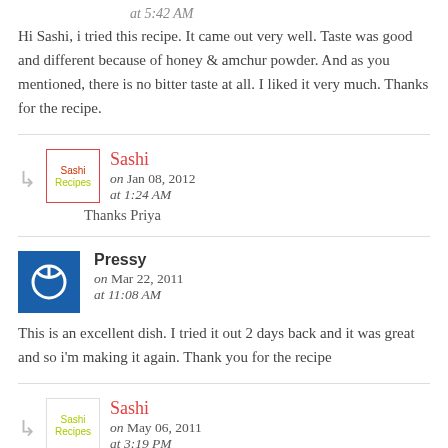at 5:42 AM
Hi Sashi, i tried this recipe. It came out very well. Taste was good and different because of honey & amchur powder. And as you mentioned, there is no bitter taste at all. I liked it very much. Thanks for the recipe.
Sashi
on Jan 08, 2012
at 1:24 AM
Thanks Priya
Pressy
on Mar 22, 2011
at 11:08 AM
This is an excellent dish. I tried it out 2 days back and it was great and so i'm making it again. Thank you for the recipe
Sashi
on May 06, 2011
at 3:19 PM